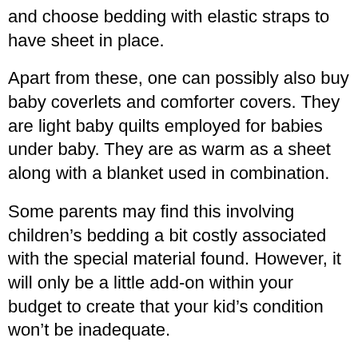and choose bedding with elastic straps to have sheet in place.
Apart from these, one can possibly also buy baby coverlets and comforter covers. They are light baby quilts employed for babies under baby. They are as warm as a sheet along with a blanket used in combination.
Some parents may find this involving children’s bedding a bit costly associated with the special material found. However, it will only be a little add-on within your budget to create that your kid’s condition won’t be inadequate.
If a child has an input into the design and style and colour of the bedroom they additional likely to find after their room. They will have pride in their